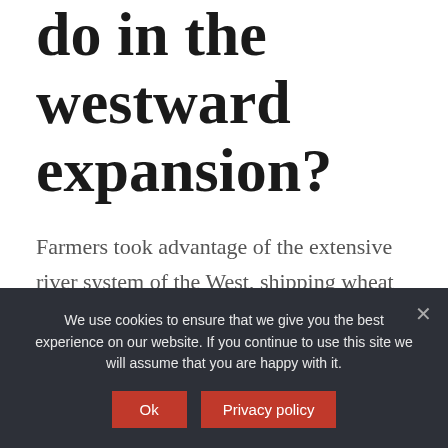do in the westward expansion?
Farmers took advantage of the extensive river system of the West, shipping wheat and corn down the Ohio River to the Mississippi and then down the Mississippi to the port of New Orleans where it was sold or shipped to distant ports.
What is the easiest
We use cookies to ensure that we give you the best experience on our website. If you continue to use this site we will assume that you are happy with it.